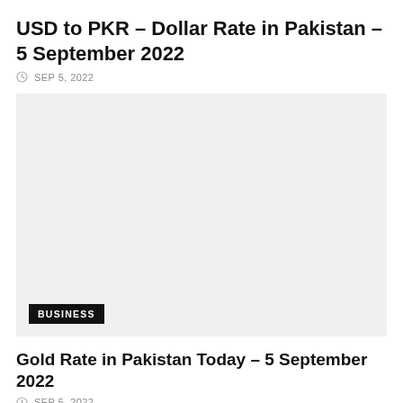USD to PKR – Dollar Rate in Pakistan – 5 September 2022
SEP 5, 2022
[Figure (photo): Light grey placeholder image with a BUSINESS category badge in the bottom left corner]
Gold Rate in Pakistan Today – 5 September 2022
SEP 5, 2022